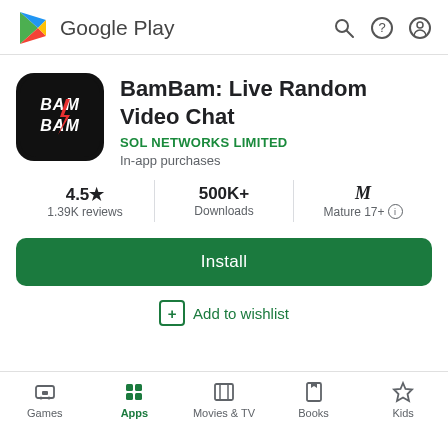[Figure (logo): Google Play logo with colorful triangle and 'Google Play' text]
[Figure (logo): BamBam app icon: black rounded square with BAM BAM text and lightning bolt]
BamBam: Live Random Video Chat
SOL NETWORKS LIMITED
In-app purchases
4.5★ 1.39K reviews
500K+ Downloads
M Mature 17+
Install
Add to wishlist
Games  Apps  Movies & TV  Books  Kids